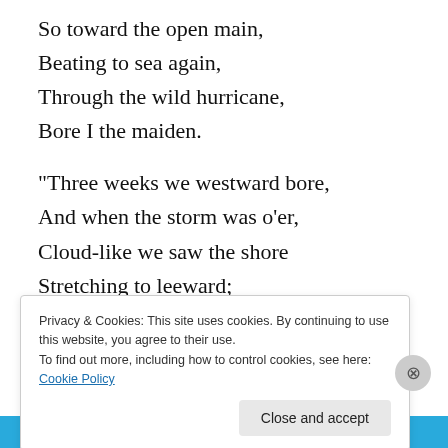So toward the open main,
Beating to sea again,
Through the wild hurricane,
Bore I the maiden.

“Three weeks we westward bore,
And when the storm was o’er,
Cloud-like we saw the shore
Stretching to leeward;
There for my lady’s bower
Built there the lofty tower,
Privacy & Cookies: This site uses cookies. By continuing to use this website, you agree to their use.
To find out more, including how to control cookies, see here: Cookie Policy